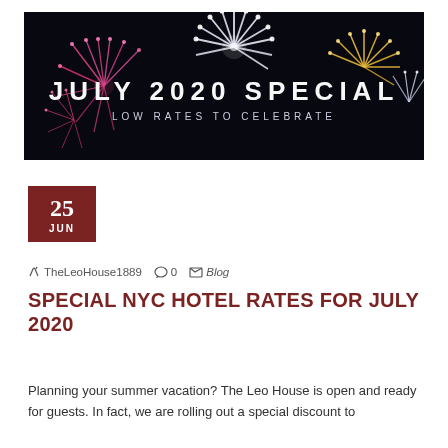[Figure (photo): Banner image showing fireworks on a dark night sky with text 'JULY 2020 SPECIAL' and subtitle 'LOW RATES TO CELEBRATE']
25
JUN
✏ TheLeoHouse1889   ○ 0   ▷ Blog
SPECIAL NYC HOTEL RATES FOR JULY 2020
Planning your summer vacation? The Leo House is open and ready for guests. In fact, we are rolling out a special discount to celebrate NYC travelers for the whole month of July 2020.